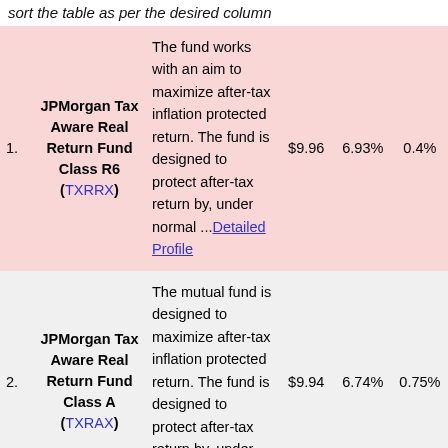sort the table as per the desired column
| # | Fund | Description | Price | Yield | Expense |
| --- | --- | --- | --- | --- | --- |
| 1. | JPMorgan Tax Aware Real Return Fund Class R6 (TXRRX) | The fund works with an aim to maximize after-tax inflation protected return. The fund is designed to protect after-tax return by, under normal ...Detailed Profile | $9.96 | 6.93% | 0.4% |
| 2. | JPMorgan Tax Aware Real Return Fund Class A (TXRAX) | The mutual fund is designed to maximize after-tax inflation protected return. The fund is designed to protect after-tax return by, under normal... Detailed | $9.94 | 6.74% | 0.75% |